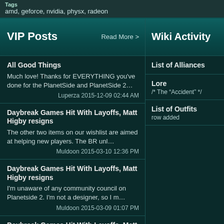Tags
amd, geforce, nvidia, physx, radeon
VIP Posts
Wiki Activity
All Good Things
Much love! Thanks for EVERYTHING you've done for the PlanetSide and PlanetSide 2…
Luperza 2015-12-09 02:44 AM
List of Alliances
Daybreak Games Hit With Layoffs, Matt Higby resigns
The other two items on our wishlist are aimed at helping new players. The BR unl…
Muldoon 2015-03-10 12:36 PM
Lore
/* The “Accident” */
Daybreak Games Hit With Layoffs, Matt Higby resigns
I'm unaware of any community council on Planetside 2. I'm not a designer, so I m…
Muldoon 2015-03-09 01:07 PM
List of Outfits
row added
Daybreak Games Hit With Layoffs, Matt Higby resigns
A lot of people ask us to do stuff for free, most ask for stuff like that…